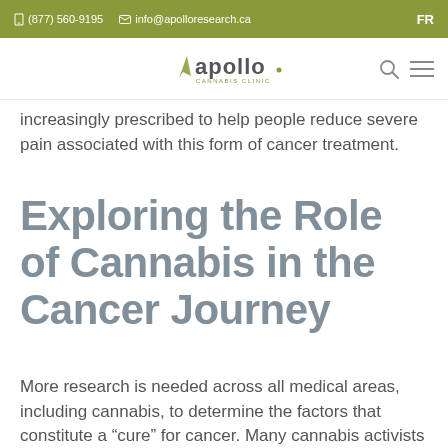(877) 560-9195  info@apolloresearch.ca  FR
[Figure (logo): Apollo Cannabis Clinic logo with cursor/arrow icon and wordmark]
increasingly prescribed to help people reduce severe pain associated with this form of cancer treatment.
Exploring the Role of Cannabis in the Cancer Journey
More research is needed across all medical areas, including cannabis, to determine the factors that constitute a “cure” for cancer. Many cannabis activists have emerged to share their